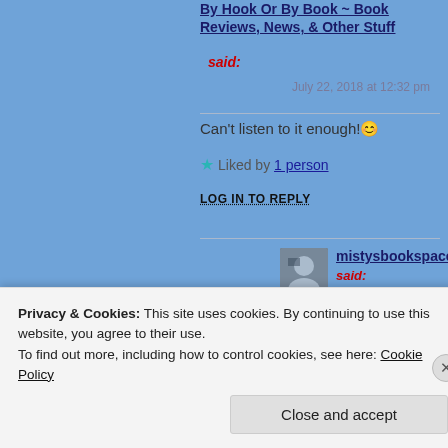By Hook Or By Book ~ Book Reviews, News, & Other Stuff said:
July 22, 2018 at 12:32 pm
Can't listen to it enough! 😊
★ Liked by 1 person
LOG IN TO REPLY
mistysbookspace said:
July 22, 2018 at 12:33 pm
I was listening to it non stop when I first got it but I haven't listened to it that much
Privacy & Cookies: This site uses cookies. By continuing to use this website, you agree to their use.
To find out more, including how to control cookies, see here: Cookie Policy
Close and accept